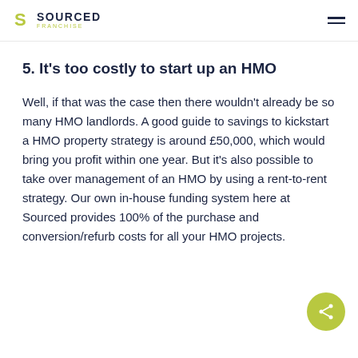SOURCED FRANCHISE
5. It's too costly to start up an HMO
Well, if that was the case then there wouldn't already be so many HMO landlords. A good guide to savings to kickstart a HMO property strategy is around £50,000, which would bring you profit within one year. But it's also possible to take over management of an HMO by using a rent-to-rent strategy. Our own in-house funding system here at Sourced provides 100% of the purchase and conversion/refurb costs for all your HMO projects.